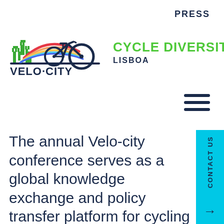PRESS
[Figure (logo): Velo-city logo with colorful bicycle and castle silhouette, text VELO·CITY below]
CYCLE DIVERSITY LISBOA
[Figure (other): Hamburger menu icon (three horizontal lines)]
The annual Velo-city conference serves as a global knowledge exchange and policy transfer platform for cycling and sustainable urban planning. After a one-year break, the organisers are eager to gather the global cycling community again in